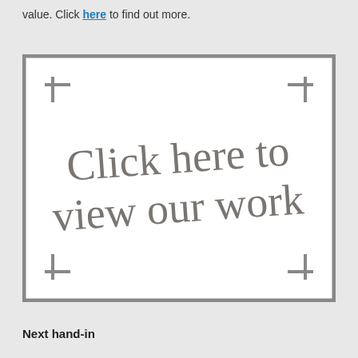value. Click here to find out more.
[Figure (illustration): A framed box with corner bracket marks and handwritten-style text reading 'Click here to view our work']
Next hand-in